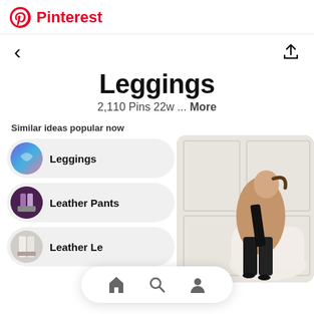Pinterest
< (back button) and share icon
Leggings
2,110 Pins 22w ... More
Similar ideas popular now
Leggings
Leather Pants
Leather Le...
[Figure (photo): Woman in leather pants and camel coat with black scarf sitting in a white armchair against a white paneled wall]
[Figure (screenshot): Bottom navigation bar with home, search, and profile icons]